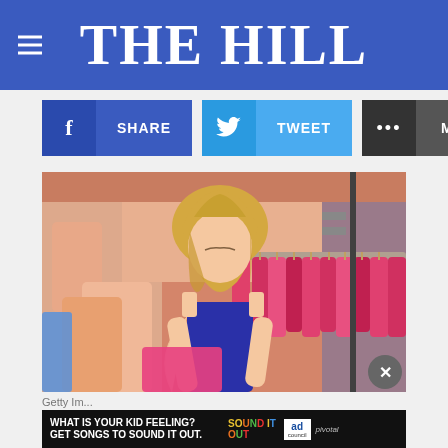THE HILL
f SHARE | TWEET | ... MORE
[Figure (photo): Young blonde woman in a blue sleeveless top browsing through pink clothing on racks in a retail clothing store]
Getty Im...
[Figure (infographic): Ad banner: WHAT IS YOUR KID FEELING? GET SONGS TO SOUND IT OUT. Sound It Out / Ad Council / Pivotal]